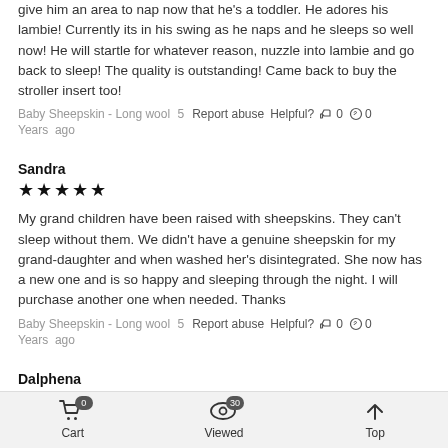give him an area to nap now that he's a toddler. He adores his lambie! Currently its in his swing as he naps and he sleeps so well now! He will startle for whatever reason, nuzzle into lambie and go back to sleep! The quality is outstanding! Came back to buy the stroller insert too!
Baby Sheepskin - Long wool  5 Years  ago  Report abuse  Helpful?  0  0
Sandra
★★★★★
My grand children have been raised with sheepskins. They can't sleep without them. We didn't have a genuine sheepskin for my grand-daughter and when washed her's disintegrated. She now has a new one and is so happy and sleeping through the night. I will purchase another one when needed. Thanks
Baby Sheepskin - Long wool  5 Years  ago  Report abuse  Helpful?  0  0
Dalphena
★★★★★
Cart  0  Viewed  30  Top